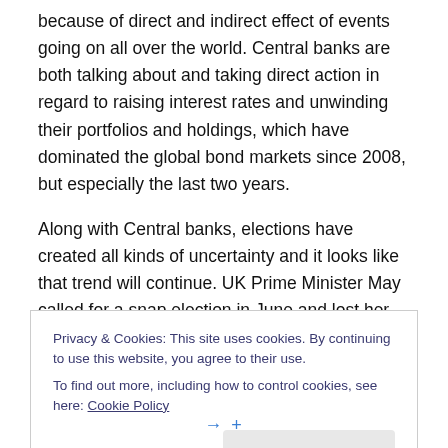because of direct and indirect effect of events going on all over the world. Central banks are both talking about and taking direct action in regard to raising interest rates and unwinding their portfolios and holdings, which have dominated the global bond markets since 2008, but especially the last two years.
Along with Central banks, elections have created all kinds of uncertainty and it looks like that trend will continue. UK Prime Minister May called for a snap election in June and lost her conservative majority, but was able to form a
Privacy & Cookies: This site uses cookies. By continuing to use this website, you agree to their use.
To find out more, including how to control cookies, see here: Cookie Policy
Close and accept